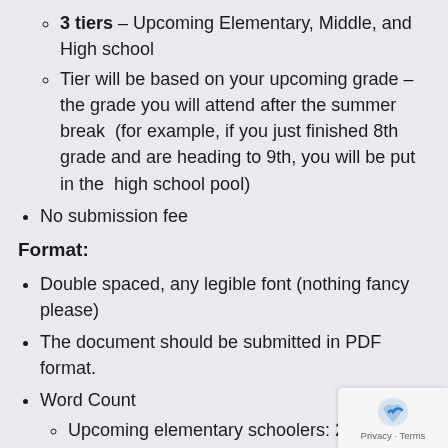3 tiers – Upcoming Elementary, Middle, and High school
Tier will be based on your upcoming grade – the grade you will attend after the summer break (for example, if you just finished 8th grade and are heading to 9th, you will be put in the high school pool)
No submission fee
Format:
Double spaced, any legible font (nothing fancy please)
The document should be submitted in PDF format.
Word Count
Upcoming elementary schoolers: 250-5 words
Upcoming middle schoolers: max of around